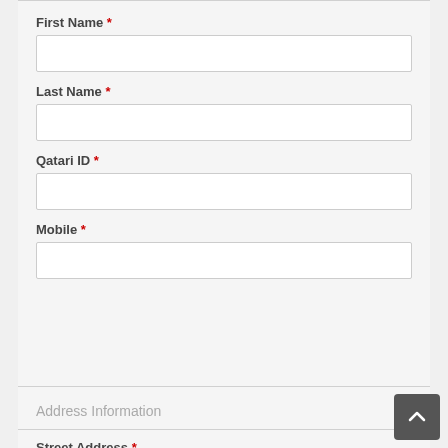First Name *
Last Name *
Qatari ID *
Mobile *
Address Information
Street Address *